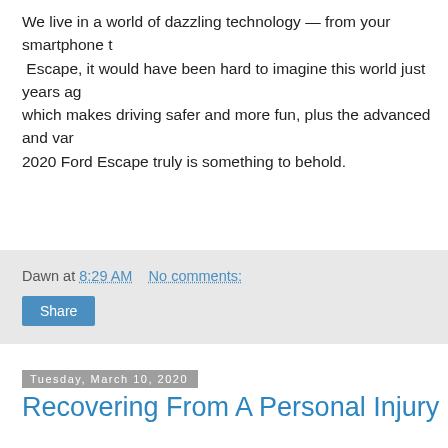We live in a world of dazzling technology — from your smartphone t Escape, it would have been hard to imagine this world just years ag which makes driving safer and more fun, plus the advanced and var 2020 Ford Escape truly is something to behold.
Dawn at 8:29 AM   No comments:
Share
Tuesday, March 10, 2020
Recovering From A Personal Injury
Recovering from a personal injury
Regardless of how careful you are, it is all too easy to have year, around 69 million medical office or emergency depa